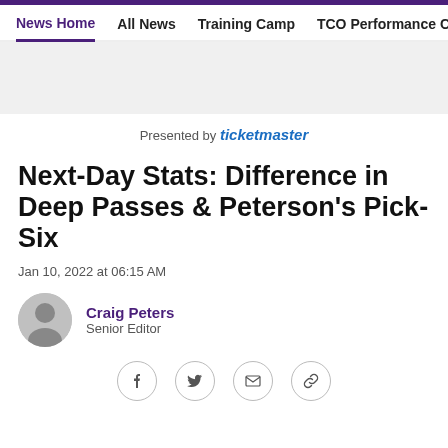News Home  All News  Training Camp  TCO Performance Center
[Figure (other): Gray banner/advertisement area]
Presented by ticketmaster
Next-Day Stats: Difference in Deep Passes & Peterson's Pick-Six
Jan 10, 2022 at 06:15 AM
Craig Peters
Senior Editor
[Figure (other): Social share icons: Facebook, Twitter, Email, Link]